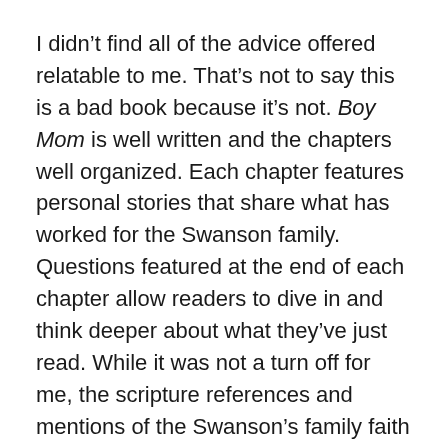I didn't find all of the advice offered relatable to me. That's not to say this is a bad book because it's not. Boy Mom is well written and the chapters well organized. Each chapter features personal stories that share what has worked for the Swanson family. Questions featured at the end of each chapter allow readers to dive in and think deeper about what they've just read. While it was not a turn off for me, the scripture references and mentions of the Swanson's family faith may be a turn off for some.
Despite what may sound like and feels to me like a negative review, I know some moms out there are going to learn so much. Swanson offers checklists and several links for those who will need the advice offered printed for future reference.
Advanced copy provided by NetGalley